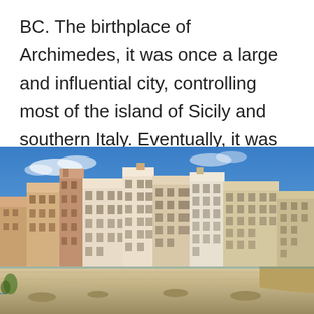BC. The birthplace of Archimedes, it was once a large and influential city, controlling most of the island of Sicily and southern Italy. Eventually, it was conquered by the Roman Empire.
[Figure (photo): Panoramic photograph of a coastal Italian city (Syracuse, Sicily) showing historic multi-storey buildings with ochre and white facades lining a seawall along a bright blue sea, under a clear blue sky.]